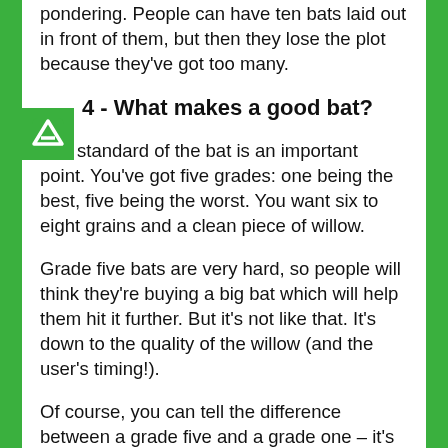pondering. People can have ten bats laid out in front of them, but then they lose the plot because they've got too many.
4 - What makes a good bat?
The standard of the bat is an important point. You've got five grades: one being the best, five being the worst. You want six to eight grains and a clean piece of willow.
Grade five bats are very hard, so people will think they're buying a big bat which will help them hit it further. But it's not like that. It's down to the quality of the willow (and the user's timing!).
Of course, you can tell the difference between a grade five and a grade one – it's a Ford and a Ferrari.
5 - Give it some TLC – it's made of wood!
Bats need to be looked after. It's like a piece of